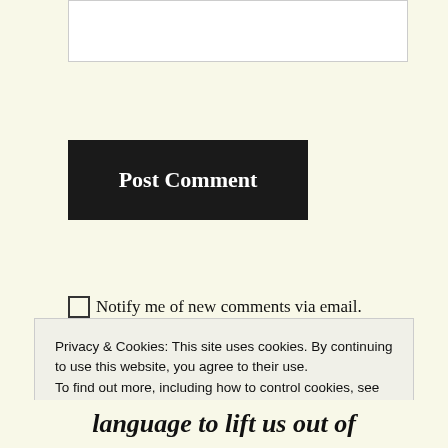[Figure (other): Empty text area input box]
Post Comment
Notify me of new comments via email.
Notify me of new posts via email.
This site uses Akismet to reduce spam. Learn how your comment data is processed.
Privacy & Cookies: This site uses cookies. By continuing to use this website, you agree to their use.
To find out more, including how to control cookies, see here: Cookie Policy
Close and accept
language to lift us out of